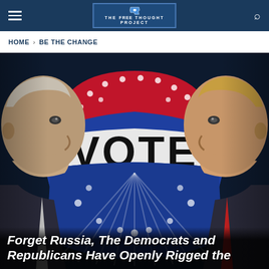THE FREE THOUGHT PROJECT
HOME > BE THE CHANGE
[Figure (illustration): Two men facing each other (profiles, left and right) with a large patriotic red, white, and blue 'VOTE' button in the center background, decorated with stars and stripes.]
Forget Russia, The Democrats and Republicans Have Openly Rigged the